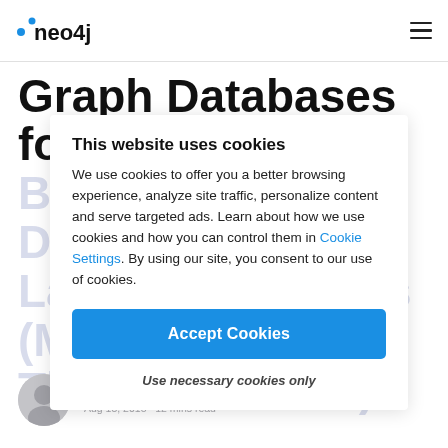neo4j
Graph Databases for Beginners: Why a Database Query Language Matters (More Than You Think)
This website uses cookies
We use cookies to offer you a better browsing experience, analyze site traffic, personalize content and serve targeted ads. Learn about how we use cookies and how you can control them in Cookie Settings. By using our site, you consent to our use of cookies.
Accept Cookies
Use necessary cookies only
Bryce Merkl Sasaki, Editor-in-Chief, Neo4j
Aug 15, 2018 • 12 mins read